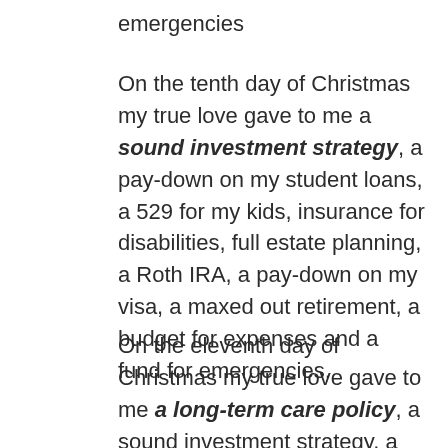emergencies
On the tenth day of Christmas my true love gave to me a sound investment strategy, a pay-down on my student loans, a 529 for my kids, insurance for disabilities, full estate planning, a Roth IRA, a pay-down on my visa, a maxed out retirement, a budget for expenses and a fund for emergencies.
On the eleventh day of Christmas my true love gave to me a long-term care policy, a sound investment strategy, a pay-down on my student loans, a 529